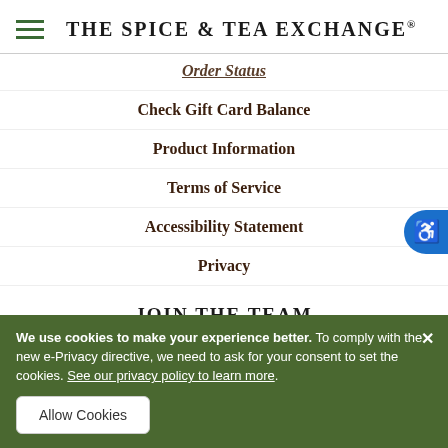THE SPICE & TEA EXCHANGE®
Order Status
Check Gift Card Balance
Product Information
Terms of Service
Accessibility Statement
Privacy
JOIN THE TEAM
We use cookies to make your experience better. To comply with the new e-Privacy directive, we need to ask for your consent to set the cookies. See our privacy policy to learn more.
Allow Cookies